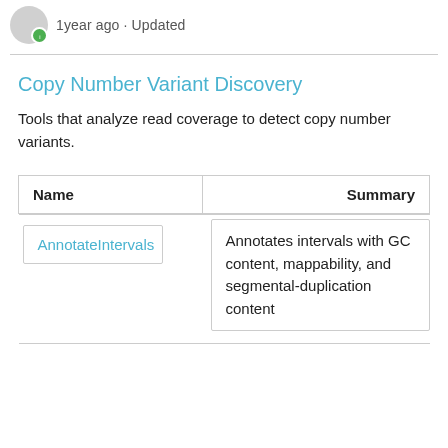1year ago · Updated
Copy Number Variant Discovery
Tools that analyze read coverage to detect copy number variants.
| Name | Summary |
| --- | --- |
| AnnotateIntervals | Annotates intervals with GC content, mappability, and segmental-duplication content |